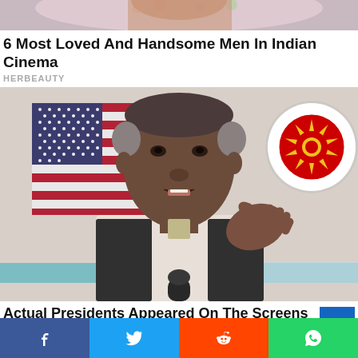[Figure (photo): Top partial image of a person in colorful clothing, cropped at top]
6 Most Loved And Handsome Men In Indian Cinema
HERBEAUTY
[Figure (photo): Photo of Barack Obama speaking at podium with US flag and ASEAN emblem in background]
Actual Presidents Appeared On The Screens Selling Us Something
BRAINBERRIES